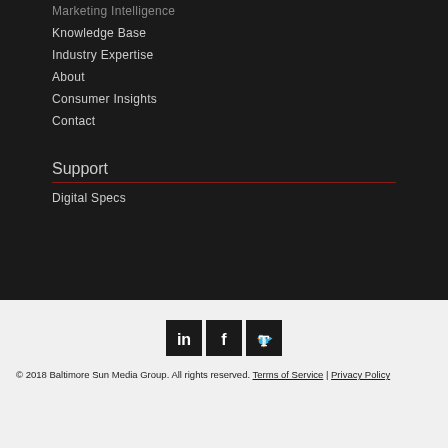Marketing Intelligence
Knowledge Base
Industry Expertise
About
Consumer Insights
Contact
Support
Digital Specs
[Figure (logo): Social media icons: LinkedIn, Facebook, Twitter]
© 2018 Baltimore Sun Media Group. All rights reserved. Terms of Service | Privacy Policy